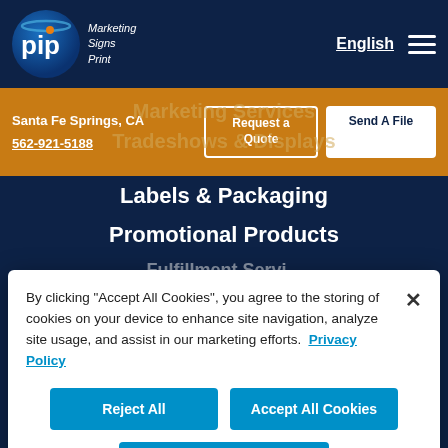PIP Marketing Signs Print — English
Santa Fe Springs, CA
562-921-5188
Request a Quote
Send A File
Marketing Services
Tradeshows & Displays
Labels & Packaging
Promotional Products
Fulfillment Services
By clicking "Accept All Cookies", you agree to the storing of cookies on your device to enhance site navigation, analyze site usage, and assist in our marketing efforts. Privacy Policy
Reject All
Accept All Cookies
Cookies Settings